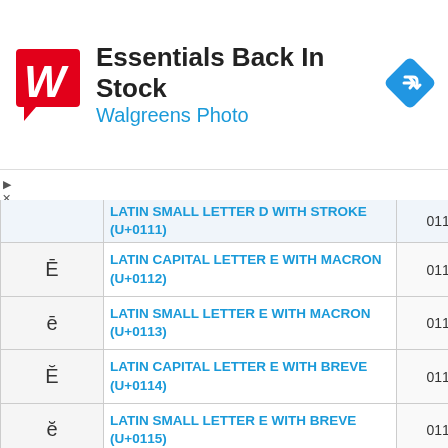[Figure (other): Walgreens Photo advertisement banner: logo with W on red speech bubble, 'Essentials Back In Stock' title, 'Walgreens Photo' subtitle in blue, blue diamond turn arrow icon on right]
| Character | Name | Code |
| --- | --- | --- |
| ď (partial) | LATIN SMALL LETTER D WITH STROKE (U+0111) | 0111 |
| Ē | LATIN CAPITAL LETTER E WITH MACRON (U+0112) | 0112 |
| ē | LATIN SMALL LETTER E WITH MACRON (U+0113) | 0113 |
| Ĕ | LATIN CAPITAL LETTER E WITH BREVE (U+0114) | 0114 |
| ĕ | LATIN SMALL LETTER E WITH BREVE (U+0115) | 0115 |
| Ė | LATIN CAPITAL LETTER E WITH DOT ABOVE (U+0116) | 0116 |
| ė | LATIN SMALL LETTER E WITH | 0117 |